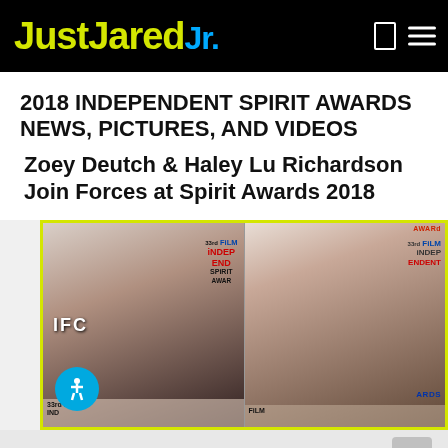JustJaredJr.
2018 INDEPENDENT SPIRIT AWARDS NEWS, PICTURES, AND VIDEOS
Zoey Deutch & Haley Lu Richardson Join Forces at Spirit Awards 2018
[Figure (photo): Two women at the 33rd Film Independent Spirit Awards. Left: woman in black off-shoulder dress in front of IFC banner. Right: woman in floral dress in front of Film Independent Spirit Awards banner.]